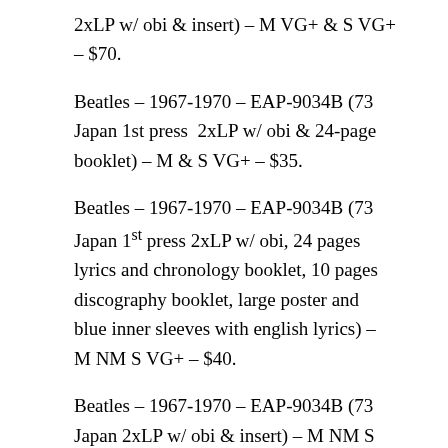2xLP w/ obi & insert) – M VG+ & S VG+ – $70.
Beatles – 1967-1970 – EAP-9034B (73 Japan 1st press  2xLP w/ obi & 24-page booklet) – M & S VG+ – $35.
Beatles – 1967-1970 – EAP-9034B (73 Japan 1st press 2xLP w/ obi, 24 pages lyrics and chronology booklet, 10 pages discography booklet, large poster and blue inner sleeves with english lyrics) – M NM S VG+ – $40.
Beatles – 1967-1970 – EAP-9034B (73 Japan 2xLP w/ obi & insert) – M NM S VG+ – $35.
Beatles – 1967-1970 – EAP-9034B (73 Japan gatefold w/ 2 booklets, poster, insert & lyric inner sleeves) – M